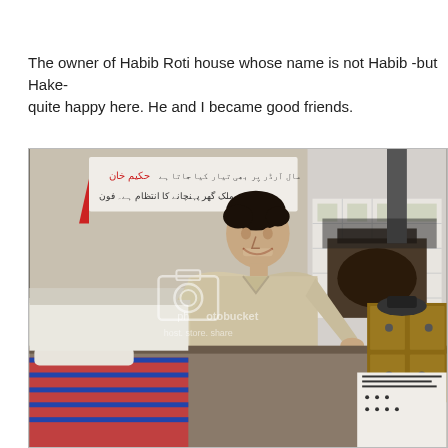The owner of Habib Roti house whose name is not Habib -but Hake- quite happy here. He and I became good friends.
[Figure (photo): A young man smiling in a roti house / traditional bakery, standing behind a counter. Urdu text on the wall behind him. A tandoor oven is visible in the background. A wooden drawer cabinet and papers are on the right. The image has a Photobucket watermark overlay.]